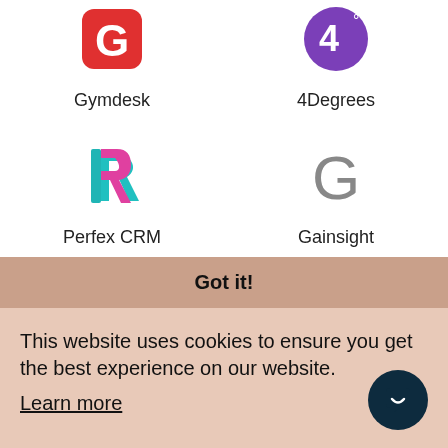[Figure (logo): Gymdesk logo - red square with white G]
Gymdesk
[Figure (logo): 4Degrees logo - purple circle with 4 and degree symbol]
4Degrees
[Figure (logo): Perfex CRM logo - geometric R shape in teal and pink]
Perfex CRM
[Figure (logo): Gainsight logo - large grey G letter]
Gainsight
[Figure (logo): Dark blue rounded square with lines/text icon]
[Figure (logo): House icon with red and blue accent]
Got it!
This website uses cookies to ensure you get the best experience on our website. Learn more
Software